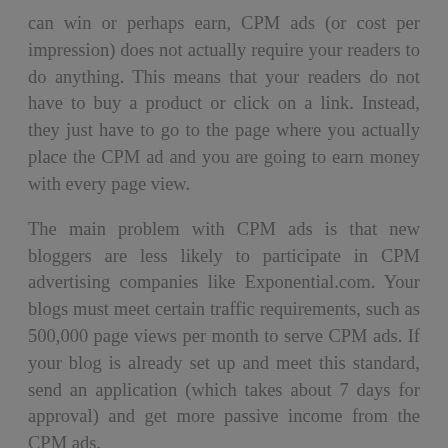can win or perhaps earn, CPM ads (or cost per impression) does not actually require your readers to do anything. This means that your readers do not have to buy a product or click on a link. Instead, they just have to go to the page where you actually place the CPM ad and you are going to earn money with every page view.
The main problem with CPM ads is that new bloggers are less likely to participate in CPM advertising companies like Exponential.com. Your blogs must meet certain traffic requirements, such as 500,000 page views per month to serve CPM ads. If your blog is already set up and meet this standard, send an application (which takes about 7 days for approval) and get more passive income from the CPM ads.